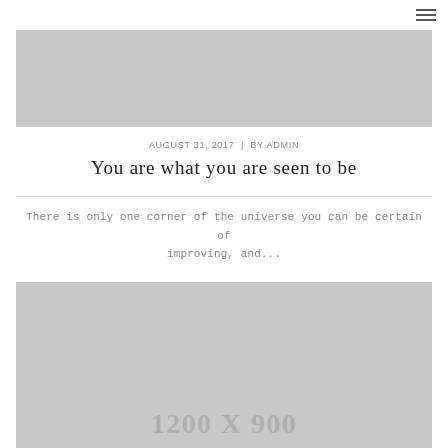≡
[Figure (photo): Gray placeholder image at top of blog post, approximately 1200x900 aspect ratio scaled down]
AUGUST 31, 2017  |  BY ADMIN
You are what you are seen to be
There is only one corner of the universe you can be certain of improving, and...
[Figure (photo): Gray placeholder image labeled 1200 X 900]